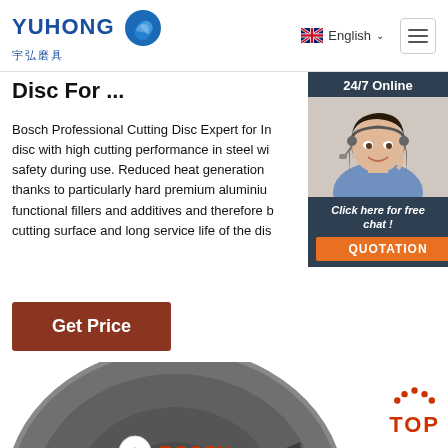YUHONG 宇弘磨具 | English | Navigation
Disc For ...
Bosch Professional Cutting Disc Expert for Inox - disc with high cutting performance in steel wi safety during use. Reduced heat generation thanks to particularly hard premium aluminiu functional fillers and additives and therefore b cutting surface and long service life of the dis
[Figure (photo): Customer service agent with headset, 24/7 Online chat widget with QUOTATION button]
[Figure (photo): Bosch Standard for Inox cutting disc, circular abrasive disc with Bosch logo and 'standard Inox' text, three stars rating]
[Figure (logo): TOP navigation button with orange dots arc above]